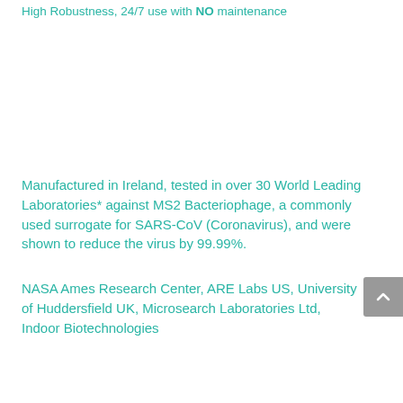High Robustness, 24/7 use with NO maintenance
Manufactured in Ireland, tested in over 30 World Leading Laboratories* against MS2 Bacteriophage, a commonly used surrogate for SARS-CoV (Coronavirus), and were shown to reduce the virus by 99.99%.
NASA Ames Research Center, ARE Labs US, University of Huddersfield UK, Microsearch Laboratories Ltd, Indoor Biotechnologies